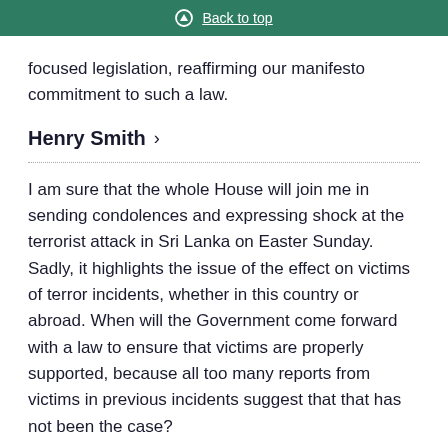Back to top
focused legislation, reaffirming our manifesto commitment to such a law.
Henry Smith >
I am sure that the whole House will join me in sending condolences and expressing shock at the terrorist attack in Sri Lanka on Easter Sunday. Sadly, it highlights the issue of the effect on victims of terror incidents, whether in this country or abroad. When will the Government come forward with a law to ensure that victims are properly supported, because all too many reports from victims in previous incidents suggest that that has not been the case?